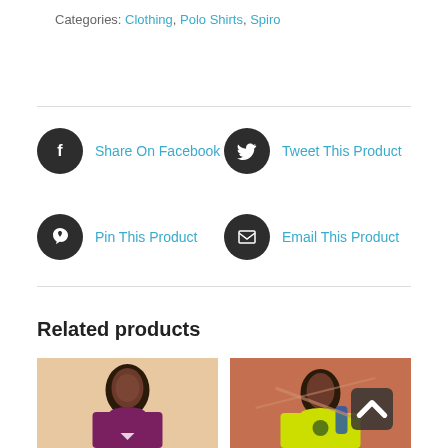Categories: Clothing, Polo Shirts, Spiro
Share On Facebook
Tweet This Product
Pin This Product
Email This Product
Related products
[Figure (photo): Woman in dark red t-shirt against peach/cream background]
[Figure (photo): Child in yellow t-shirt running on a track]